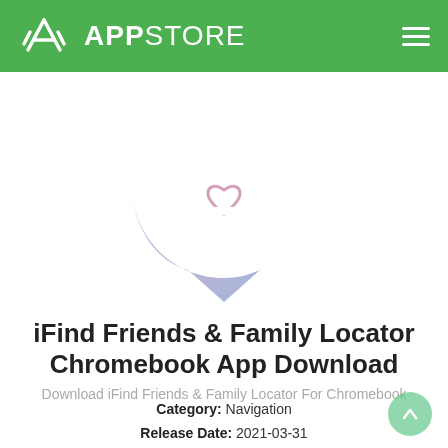APPSTORE
[Figure (logo): iFind Friends & Family Locator app icon: a speech bubble shaped circle with a gradient from purple-blue to pink, containing a white house outline with a heart inside]
iFind Friends & Family Locator Chromebook App Download
Download iFind Friends & Family Locator For Chromebook
Category: Navigation
Release Date: 2021-03-31